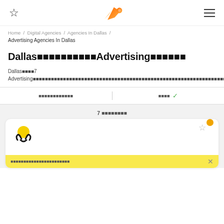☆  [logo]  ≡
Home / Digital Agencies / Agencies In Dallas / Advertising Agencies In Dallas
Dallas■■■■■■■■■■Advertising■■■■■■
Dallas■■■7 Advertising■■■■■■■■■■■■■■■■■■■■■■■■■■■■■■■■■■■■■■■■■■■■■■■■■■■■■■■■■■■■
■■■■■■■■■■■■  |  ■■■■ ✓
7 ■■■■■■■■
[Figure (screenshot): Agency card with logo (yellow circle/hands icon) and a yellow notification banner at the bottom with a close button]